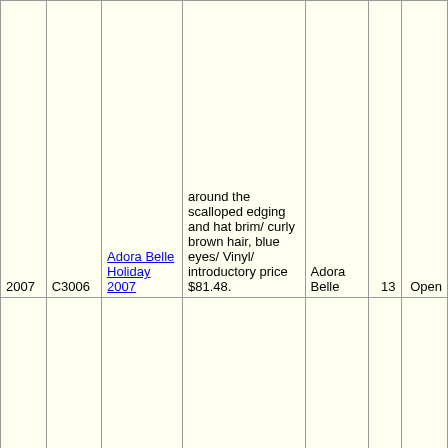| Year | Code | Name | Description | Type | Num | Status |
| --- | --- | --- | --- | --- | --- | --- |
| 2007 | C3006 | Adora Belle Holiday 2007 | around the scalloped edging and hat brim/ curly brown hair, blue eyes/ Vinyl/ introductory price $81.48. | Adora Belle | 13 | Open |
| 2007 | C3007 | Angelica Tiny Tot | Named after her daughter's nickname/ holds a cloth church doll/ lavender dress w/ embroidered accents/ blond hair w/ two high ponytails w/ lavender ribbon accents/ light violet eyes. | Tiny Tot | 5 | Open |
|  |  |  | Cuddles her favorite pet plush lamb/ pastel dress inspired by the ultimate lamb-loving nursery rhyme |  |  |  |